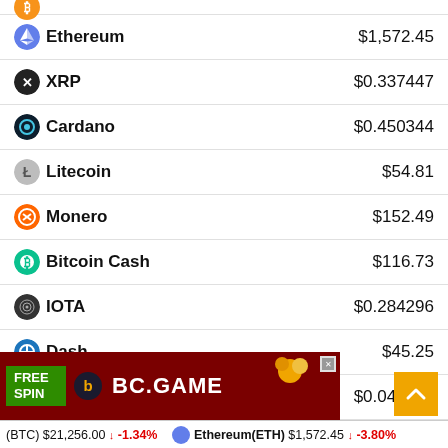| Cryptocurrency | Price |
| --- | --- |
| Ethereum | $1,572.45 |
| XRP | $0.337447 |
| Cardano | $0.450344 |
| Litecoin | $54.81 |
| Monero | $152.49 |
| Bitcoin Cash | $116.73 |
| IOTA | $0.284296 |
| Dash | $45.25 |
| NEM | $0.044716 |
[Figure (other): Advertisement banner: BC.GAME casino ad with FREE SPIN offer on dark red background]
(BTC) $21,256.00 ↓ -1.34% Ethereum(ETH) $1,572.45 ↓ -3.80%